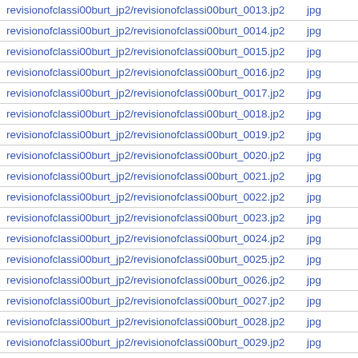| filename | type |
| --- | --- |
| revisionofclassi00burt_jp2/revisionofclassi00burt_0013.jp2 | jpg |
| revisionofclassi00burt_jp2/revisionofclassi00burt_0014.jp2 | jpg |
| revisionofclassi00burt_jp2/revisionofclassi00burt_0015.jp2 | jpg |
| revisionofclassi00burt_jp2/revisionofclassi00burt_0016.jp2 | jpg |
| revisionofclassi00burt_jp2/revisionofclassi00burt_0017.jp2 | jpg |
| revisionofclassi00burt_jp2/revisionofclassi00burt_0018.jp2 | jpg |
| revisionofclassi00burt_jp2/revisionofclassi00burt_0019.jp2 | jpg |
| revisionofclassi00burt_jp2/revisionofclassi00burt_0020.jp2 | jpg |
| revisionofclassi00burt_jp2/revisionofclassi00burt_0021.jp2 | jpg |
| revisionofclassi00burt_jp2/revisionofclassi00burt_0022.jp2 | jpg |
| revisionofclassi00burt_jp2/revisionofclassi00burt_0023.jp2 | jpg |
| revisionofclassi00burt_jp2/revisionofclassi00burt_0024.jp2 | jpg |
| revisionofclassi00burt_jp2/revisionofclassi00burt_0025.jp2 | jpg |
| revisionofclassi00burt_jp2/revisionofclassi00burt_0026.jp2 | jpg |
| revisionofclassi00burt_jp2/revisionofclassi00burt_0027.jp2 | jpg |
| revisionofclassi00burt_jp2/revisionofclassi00burt_0028.jp2 | jpg |
| revisionofclassi00burt_jp2/revisionofclassi00burt_0029.jp2 | jpg |
| revisionofclassi00burt_jp2/revisionofclassi00burt_0030.jp2 | jpg |